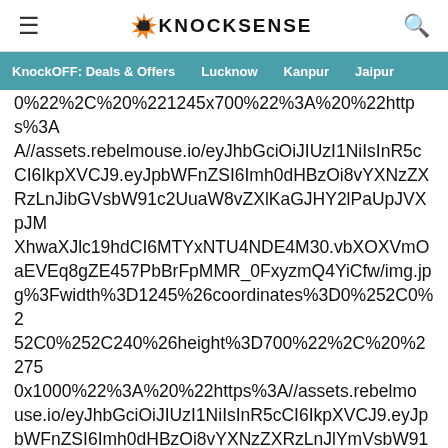≡  KNOCK[fist]SENSE  🔍
KnockOFF: Deals & Offers  Lucknow  Kanpur  Jaipur
0%22%2C%20%221245x700%22%3A%20%22https%3A//assets.rebelmouse.io/eyJhbGciOiJIUzI1NiIsInR5cCI6IkpXVCJ9.eyJpbWFnZSI6Imh0dHBzOi8vYXNzZXRzLnJlYmVsbW91c2UuaW8vZXlKaGJHY2lPaUpJVXpJMU5pSXNJblI1Y0NJNklrcFhWQ0o5LmV5SnBiV0ZuWlNJNkltaDBkSEJ6T2k4dllYTnplV1ZrY3k1eVpXSmxiRzF2ZFhNdWFXOHZaWGxLYW1NeVZXbEphbmQxWVZoT01HVkRjMlYxWVZoV01HVkRRMlZWZFRFek9IbE9WRVUwTVRNd0xqSndZbUpTY0hKT00wNDVWa1ZOT1RJMlptTk5WRmd3WVZVNGJVNUVWbFpYTVdSMVZsZFNiR0o0U1d4aWJVWXdXbFZXVVdGV2Fsa3dVbFZrZEZSV1RrOVpXRXBGVFd0MVMycFVSV1JUT1d4c1NrNHdNMTlpYlZoRlZIQnVWRGRWVmxrdlRqWXhNaTkwWVc1blNucExjRU5UTVRUTU9UTVhPV1JrV21ST05EUTNRMjFWWkVveVRFOU9ZekU0WTFrNU1pOXhORFl1Y3kx